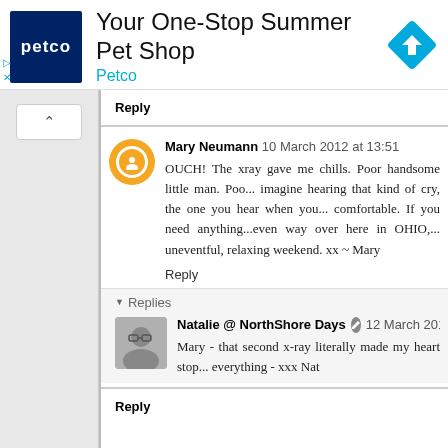[Figure (screenshot): Petco advertisement banner: 'Your One-Stop Summer Pet Shop' with Petco logo and navigation arrow icon]
Reply
Mary Neumann  10 March 2012 at 13:51
OUCH! The xray gave me chills. Poor handsome little man. Poo... imagine hearing that kind of cry, the one you hear when you... comfortable. If you need anything...even way over here in OHIO,... uneventful, relaxing weekend. xx ~ Mary
Reply
Replies
Natalie @ NorthShore Days  12 March 2012 at 22...
Mary - that second x-ray literally made my heart stop... everything - xxx Nat
Reply